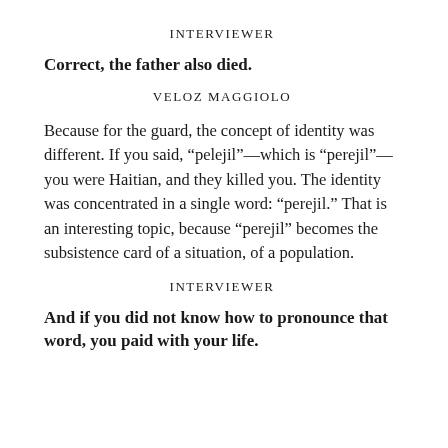INTERVIEWER
Correct, the father also died.
VELOZ MAGGIOLO
Because for the guard, the concept of identity was different. If you said, “pelejil”—which is “perejil”—you were Haitian, and they killed you. The identity was concentrated in a single word: “perejil.” That is an interesting topic, because “perejil” becomes the subsistence card of a situation, of a population.
INTERVIEWER
And if you did not know how to pronounce that word, you paid with your life.